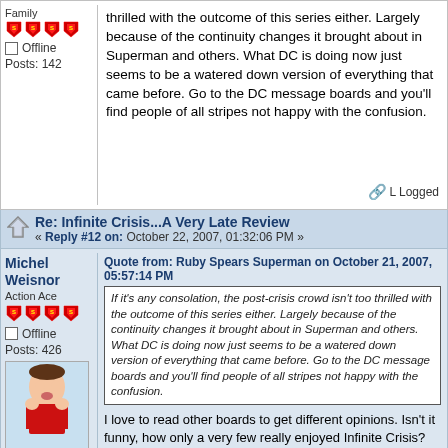Family
Offline
Posts: 142
thrilled with the outcome of this series either. Largely because of the continuity changes it brought about in Superman and others. What DC is doing now just seems to be a watered down version of everything that came before. Go to the DC message boards and you'll find people of all stripes not happy with the confusion.
Logged
Michel Weisnor
Action Ace
Offline
Posts: 426
Re: Infinite Crisis...A Very Late Review
« Reply #12 on: October 22, 2007, 01:32:06 PM »
Quote from: Ruby Spears Superman on October 21, 2007, 05:57:14 PM
If it's any consolation, the post-crisis crowd isn't too thrilled with the outcome of this series either. Largely because of the continuity changes it brought about in Superman and others. What DC is doing now just seems to be a watered down version of everything that came before. Go to the DC message boards and you'll find people of all stripes not happy with the confusion.
I love to read other boards to get different opinions. Isn't it funny, how only a very few really enjoyed Infinite Crisis? That should tell you something about this miniseries.